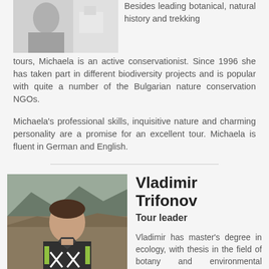[Figure (photo): Partial photo of a person in snowy/light background, cropped at top]
Besides leading botanical, natural history and trekking tours, Michaela is an active conservationist. Since 1996 she has taken part in different biodiversity projects and is popular with quite a number of the Bulgarian nature conservation NGOs.
Michaela's professional skills, inquisitive nature and charming personality are a promise for an excellent tour. Michaela is fluent in German and English.
[Figure (photo): Portrait photo of Vladimir Trifonov outdoors on a hillside, wearing a dark jacket with green accents]
Vladimir Trifonov
Tour leader
Vladimir has master's degree in ecology, with thesis in the field of botany and environmental protection. He is guiding many of Neophron Tours